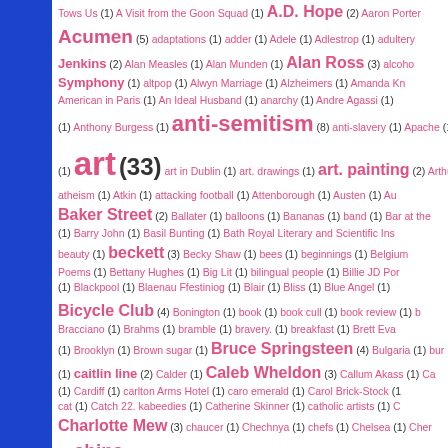Index tag cloud page showing entries from 'Tows Us' through 'citterne' with frequency counts
Tows Us (1) A Visit from the Goon Squad (1) A.D. Hope (2) Aaron Porter
Acumen (5) adaptations (1) adder (1) Adele (1) Adlestrop (1) adultery
Jenkins (2) Alan Measles (1) Alan Munden (1) Alan Ross (3) alcoho
Symphony (1) altpop (1) Alwyn Marriage (1) Alzheimers (1) Amanda Kn
American in Paris (1) An Ideal Husband (1) anarchy (1) Andre Agassi (1)
(1) Anthony Burgess (1) anti-semitism (8) anti-slavery (1) Apache (1)
(1) art (33) art in Dublin (1) art. drawings (1) art. painting (2) Arthur P
atheism (1) Atkin (1) attacking football (1) Attenborough (1) Austen (1) Au
Baker Street (2) Ballater (1) balloons (1) Bananas (1) band (1) Bar at the
(1) Barry John (1) Basil Bunting (1) Bath Royal Literary and Scientific Ins
beauty (1) beckett (3) Becky Shaw (1) bees (1) beginnings (1) Belgium
Poems (1) Bettany Hughes (1) Big Lit (1) bilingual people (1) Billie JD Por
(1) Blackpool (1) Blaenau Ffestiniog (1) Blair (1) Bliss (1) Blue Angel (1)
Bicycle Club (4) Bonington (1) book (1) book cull (1) book review (1) b
Bracciano (1) Brahms (1) bramble (1) bravery. (1) breakfast (1) Brett Eva
(1) Brooklyn (1) Brown sugar (1) Bruce Springsteen (4) Bulgaria (1) bur
(1) caitlin line (2) Calder (1) Caleb Wheldon (3) Callum Akass (1) Ca
(1) Cardiff (1) carlton Arms Hotel (1) caro emerald (1) Carol Brick-Stock (1
cat (1) Catch 22. kabeedies (1) Catherine Skinner (1) catholic artists (1) C
Charlotte Mew (3) chaucer (1) Chechnya (1) chefs (1) Chelsea (1) Cher
(1) china (5) chip butties (1) chips (1) Chomsky (1) Christian Cook (1) ch
(1) Churchill (1) cider (1) cigars (1) cinnamon (1) circus (1) citterne (1) c